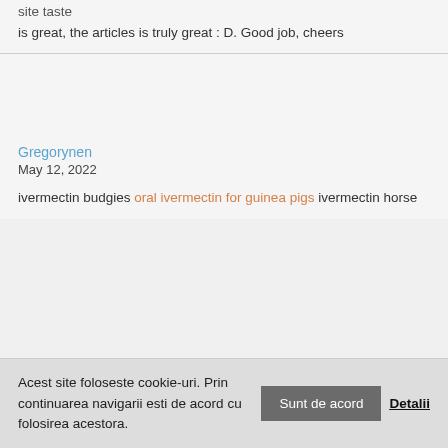site taste
is great, the articles is truly great : D. Good job, cheers
Gregorynen
May 12, 2022
ivermectin budgies oral ivermectin for guinea pigs ivermectin horse
Acest site foloseste cookie-uri. Prin continuarea navigarii esti de acord cu folosirea acestora. Sunt de acord Detalii